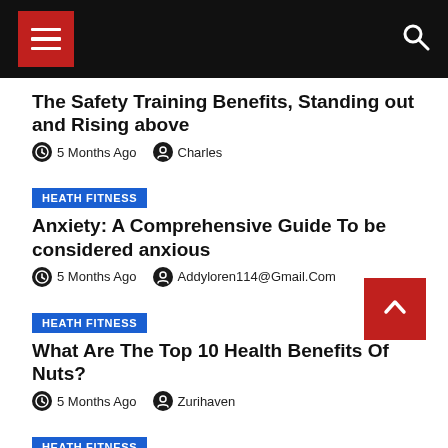Navigation bar with hamburger menu and search icon
The Safety Training Benefits, Standing out and Rising above
5 Months Ago  Charles
HEATH FITNESS
Anxiety: A Comprehensive Guide To be considered anxious
5 Months Ago  Addyloren114@Gmail.Com
HEATH FITNESS
What Are The Top 10 Health Benefits Of Nuts?
5 Months Ago  Zurihaven
HEATH FITNESS
These Special Gifts for the Aging are just right